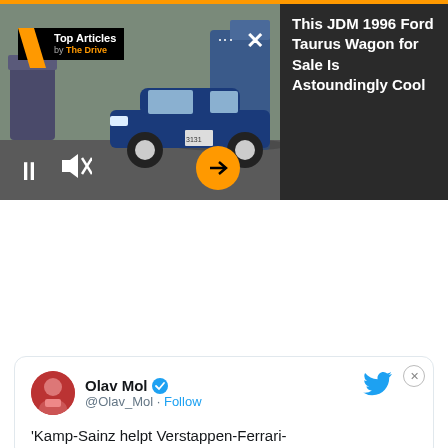[Figure (screenshot): Video widget showing a blue 1996 Ford Taurus Wagon with Top Articles by The Drive badge overlay, play/mute controls, and orange arrow button]
This JDM 1996 Ford Taurus Wagon for Sale Is Astoundingly Cool
[Figure (screenshot): Tweet card from Olav Mol (@Olav_Mol) with verified badge and Follow link, beginning: 'Kamp-Sainz helpt Verstappen-Ferrari-']
'Kamp-Sainz helpt Verstappen-Ferrari-